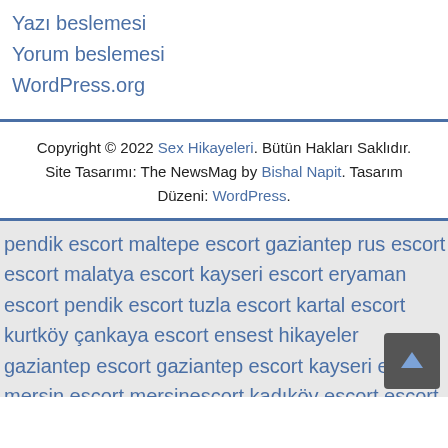Yazı beslemesi
Yorum beslemesi
WordPress.org
Copyright © 2022 Sex Hikayeleri. Bütün Hakları Saklıdır. Site Tasarımı: The NewsMag by Bishal Napit. Tasarım Düzeni: WordPress.
pendik escort maltepe escort gaziantep rus escort escort malatya escort kayseri escort eryaman escort pendik escort tuzla escort kartal escort kurtköy çankaya escort ensest hikayeler gaziantep escort gaziantep escort kayseri escort mersin escort mersinescort kadıköy escort escort izmir